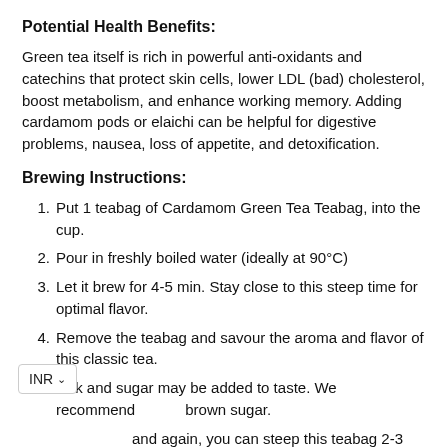Potential Health Benefits:
Green tea itself is rich in powerful anti-oxidants and catechins that protect skin cells, lower LDL (bad) cholesterol, boost metabolism, and enhance working memory. Adding cardamom pods or elaichi can be helpful for digestive problems, nausea, loss of appetite, and detoxification.
Brewing Instructions:
Put 1 teabag of Cardamom Green Tea Teabag, into the cup.
Pour in freshly boiled water (ideally at 90°C)
Let it brew for 4-5 min. Stay close to this steep time for optimal flavor.
Remove the teabag and savour the aroma and flavor of this classic tea.
Milk and sugar may be added to taste. We recommend brown sugar.
and again, you can steep this teabag 2-3 times.